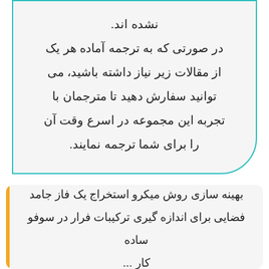نشده اند. در صورتی که به ترجمه آماده هر یک از مقالات زیر نیاز داشته باشید، می توانید سفارش دهید تا مترجمان با تجربه این مجموعه در اسرع وقت آن را برای شما ترجمه نمایند.
بهینه سازی روش میکرو استخراج یک فاز جامد فضایی برای اندازه گیری ترکیبات فرار در سوفو ساده کار...